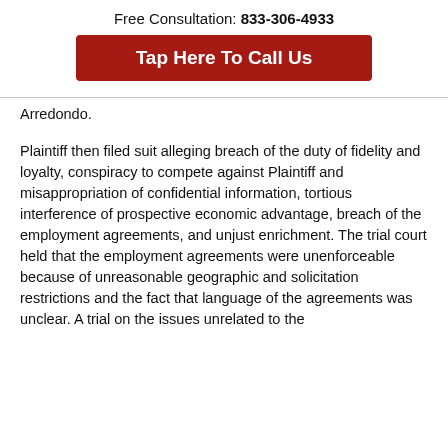Free Consultation: 833-306-4933
Tap Here To Call Us
Arredondo.
Plaintiff then filed suit alleging breach of the duty of fidelity and loyalty, conspiracy to compete against Plaintiff and misappropriation of confidential information, tortious interference of prospective economic advantage, breach of the employment agreements, and unjust enrichment. The trial court held that the employment agreements were unenforceable because of unreasonable geographic and solicitation restrictions and the fact that language of the agreements was unclear. A trial on the issues unrelated to the